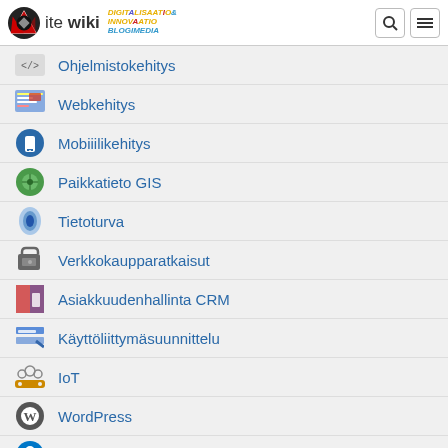ite wiki — DIGITALISAATIO& INNOVAATIO BLOGIMEDIA
Ohjelmistokehitys
Webkehitys
Mobiiilikehitys
Paikkatieto GIS
Tietoturva
Verkkokaupparatkaisut
Asiakkuudenhallinta CRM
Käyttöliittymäsuunnittelu
IoT
WordPress
Drupal
Salesforce